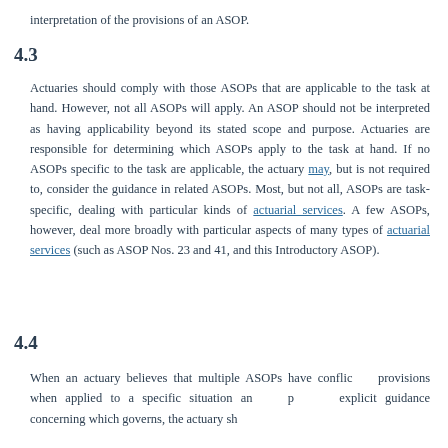interpretation of the provisions of an ASOP.
4.3
Actuaries should comply with those ASOPs that are applicable to the task at hand. However, not all ASOPs will apply. An ASOP should not be interpreted as having applicability beyond its stated scope and purpose. Actuaries are responsible for determining which ASOPs apply to the task at hand. If no ASOPs specific to the task are applicable, the actuary may, but is not required to, consider the guidance in related ASOPs. Most, but not all, ASOPs are task-specific, dealing with particular kinds of actuarial services. A few ASOPs, however, deal more broadly with particular aspects of many types of actuarial services (such as ASOP Nos. 23 and 41, and this Introductory ASOP).
4.4
When an actuary believes that multiple ASOPs have conflicting provisions when applied to a specific situation and no ASOP provides explicit guidance concerning which governs, the actuary should seek guidance from higher-level bodies to interpret the ASOP.